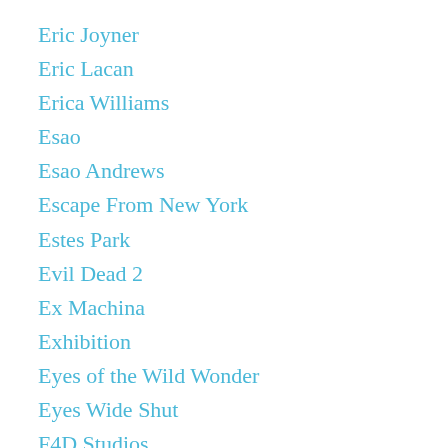Eric Joyner
Eric Lacan
Erica Williams
Esao
Esao Andrews
Escape From New York
Estes Park
Evil Dead 2
Ex Machina
Exhibition
Eyes of the Wild Wonder
Eyes Wide Shut
F4D Studios
Face the Fire